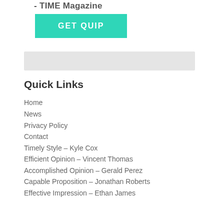- TIME Magazine
[Figure (other): GET QUIP button — teal/turquoise rectangular button with white bold uppercase text]
Quick Links
Home
News
Privacy Policy
Contact
Timely Style – Kyle Cox
Efficient Opinion – Vincent Thomas
Accomplished Opinion – Gerald Perez
Capable Proposition – Jonathan Roberts
Effective Impression – Ethan James